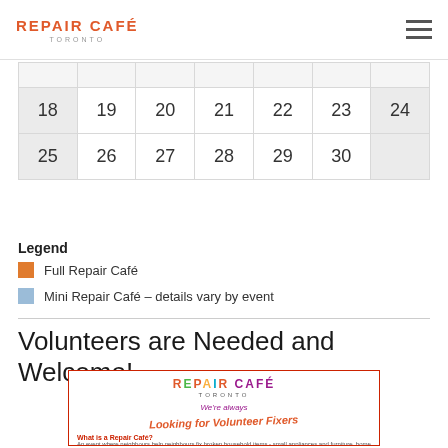Repair Café Toronto
|  |  |  |  |  |  |  |
| 18 | 19 | 20 | 21 | 22 | 23 | 24 |
| 25 | 26 | 27 | 28 | 29 | 30 |  |
Legend
Full Repair Café
Mini Repair Café – details vary by event
Volunteers are Needed and Welcome!
[Figure (illustration): Repair Café Toronto volunteer flyer with colorful logo, 'We're always Looking for Volunteer Fixers' text, 'What is a Repair Café?' heading, and descriptive text about the event.]